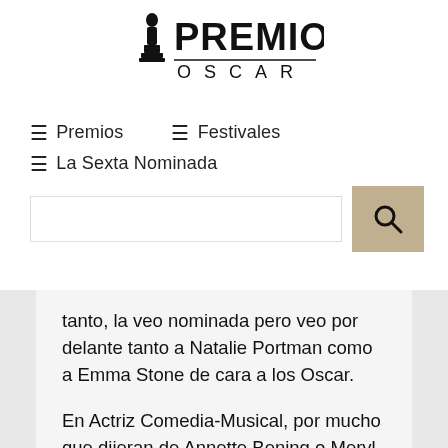[Figure (logo): Premios Oscar logo with Oscar statuette silhouette and bold text 'PREMIOS' above 'OSCAR']
≡ Premios   ≡ Festivales
≡ La Sexta Nominada
tanto, la veo nominada pero veo por delante tanto a Natalie Portman como a Emma Stone de cara a los Oscar.
En Actriz Comedia-Musical, por mucho que dijeran de Annette Bening o Meryl Streep, no